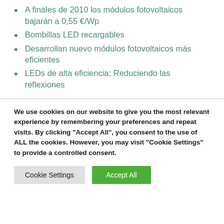A finales de 2010 los módulos fotovoltaicos bajarán a 0,55 €/Wp
Bombillas LED recargables
Desarrollan nuevo módulos fotovoltaicos más eficientes
LEDs de alta eficiencia: Reduciendo las reflexiones
We use cookies on our website to give you the most relevant experience by remembering your preferences and repeat visits. By clicking "Accept All", you consent to the use of ALL the cookies. However, you may visit "Cookie Settings" to provide a controlled consent.
Cookie Settings | Accept All